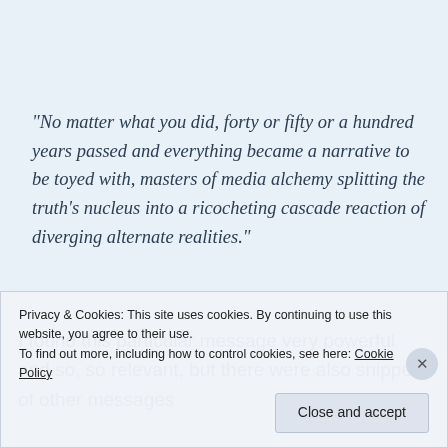“No matter what you did, forty or fifty or a hundred years passed and everything became a narrative to be toyed with, masters of media alchemy splitting the truth’s nucleus into a ricocheting cascade reaction of diverging alternate realities.”
I found this particular message very powerful and so, so relevant, but there were also snippets of other messages
Privacy & Cookies: This site uses cookies. By continuing to use this website, you agree to their use.
To find out more, including how to control cookies, see here: Cookie Policy